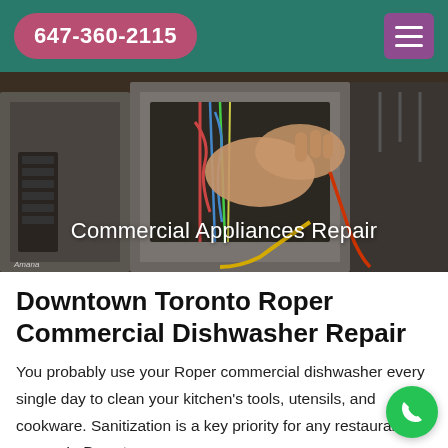647-360-2115
[Figure (photo): A technician repairing the interior of a commercial microwave/appliance, hands working with wires and components. Text overlay reads 'Commercial Appliances Repair'.]
Downtown Toronto Roper Commercial Dishwasher Repair
You probably use your Roper commercial dishwasher every single day to clean your kitchen's tools, utensils, and cookware. Sanitization is a key priority for any restaurant owner. In Downtown